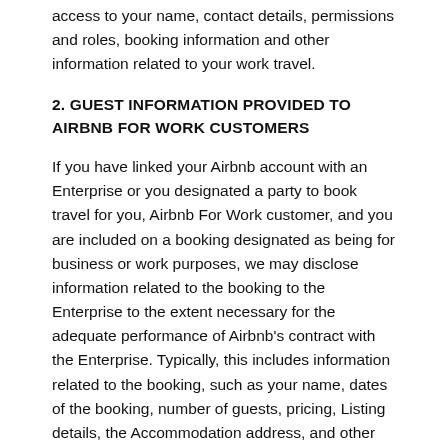access to your name, contact details, permissions and roles, booking information and other information related to your work travel.
2. GUEST INFORMATION PROVIDED TO AIRBNB FOR WORK CUSTOMERS
If you have linked your Airbnb account with an Enterprise or you designated a party to book travel for you, Airbnb For Work customer, and you are included on a booking designated as being for business or work purposes, we may disclose information related to the booking to the Enterprise to the extent necessary for the adequate performance of Airbnb's contract with the Enterprise. Typically, this includes information related to the booking, such as your name, dates of the booking, number of guests, pricing, Listing details, the Accommodation address, and other related